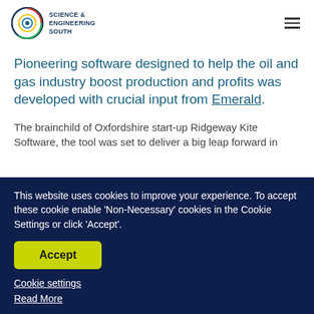Science & Engineering South
Pioneering software designed to help the oil and gas industry boost production and profits was developed with crucial input from Emerald.
The brainchild of Oxfordshire start-up Ridgeway Kite Software, the tool was set to deliver a big leap forward in
This website uses cookies to improve your experience. To accept these cookie enable 'Non-Necessary' cookies in the Cookie Settings or click 'Accept'.
Accept
Cookie settings
Read More